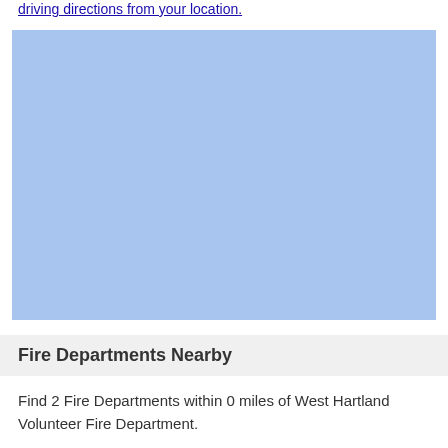driving directions from your location.
[Figure (map): A solid light blue rectangle representing an embedded map placeholder.]
Fire Departments Nearby
Find 2 Fire Departments within 0 miles of West Hartland Volunteer Fire Department.